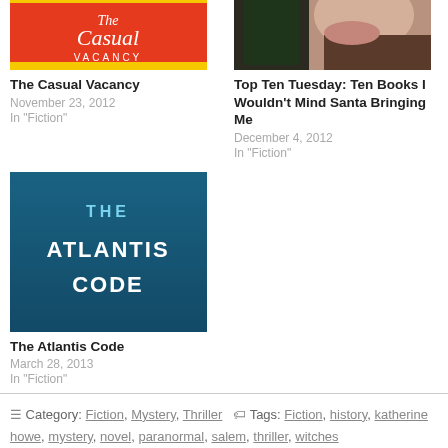[Figure (photo): Book cover for The Casual Vacancy, red background with cursive title]
The Casual Vacancy
November 23, 2012
In "Fiction"
[Figure (photo): Close-up photo of a person's lips and chin with foliage background]
Top Ten Tuesday: Ten Books I Wouldn't Mind Santa Bringing Me
December 4, 2012
In "Fiction"
[Figure (photo): Book cover for The Atlantis Code, dark teal underwater themed with white text]
The Atlantis Code
March 28, 2013
In "Fiction"
Category: Fiction, Mystery, Thriller   Tags: Fiction, history, katherine howe, mystery, novel, paranormal, salem, thriller, witches